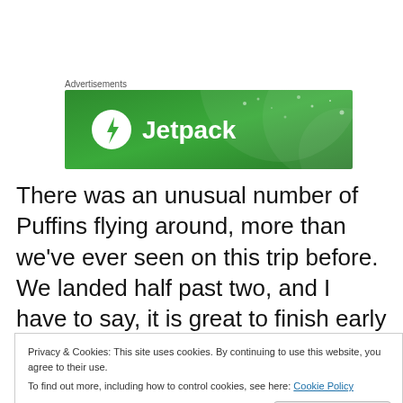Advertisements
[Figure (logo): Jetpack advertisement banner: green gradient background with white circular lightning bolt icon and 'Jetpack' text in white]
There was an unusual number of Puffins flying around, more than we've ever seen on this trip before. We landed half past two, and I have to say, it is great to finish early sometimes, especially when it's sunny. We managed to let all of our wet kit to have some sunbathing.
Privacy & Cookies: This site uses cookies. By continuing to use this website, you agree to their use.
To find out more, including how to control cookies, see here: Cookie Policy
Close and accept